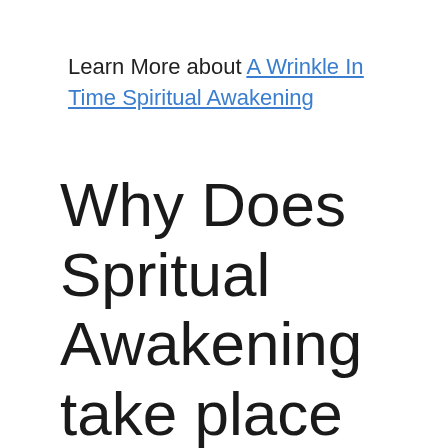Learn More about A Wrinkle In Time Spiritual Awakening
Why Does Spritual Awakening take place